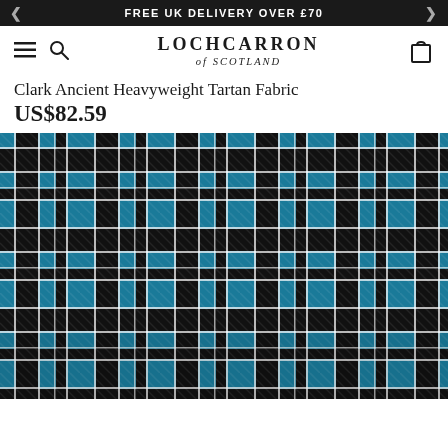FREE UK DELIVERY OVER £70
LOCHCARRON of SCOTLAND
Clark Ancient Heavyweight Tartan Fabric
US$82.59
[Figure (photo): Clark Ancient Heavyweight Tartan Fabric — a woven textile with a traditional plaid pattern in teal/blue, black, and white stripes forming a classic tartan grid.]